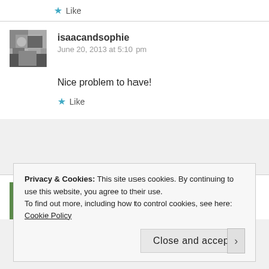Like
isaacandsophie
June 20, 2013 at 5:10 pm
Nice problem to have!
Like
mikeladano
June 20, 2013 at 5:06 pm
Privacy & Cookies: This site uses cookies. By continuing to use this website, you agree to their use.
To find out more, including how to control cookies, see here: Cookie Policy
Close and accept